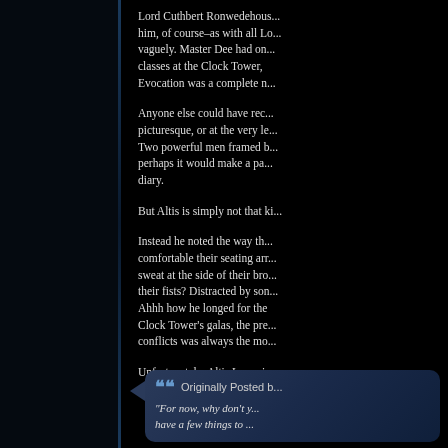Lord Cuthbert Ronwedehous... him, of course–as with all Lo... vaguely. Master Dee had on... classes at the Clock Tower, Evocation was a complete n...
Anyone else could have rec... picturesque, or at the very le... Two powerful men framed b... perhaps it would make a pa... diary.
But Altis is simply not that ki...
Instead he noted the way th... comfortable their seating arr... sweat at the side of their bro... their fists? Distracted by son... Ahhh how he longed for the Clock Tower's galas, the pre... conflicts was always the mo...
Unfortunately, Altis Laramie ...
Originally Posted b... "For now, why don't y... have a few things to ...